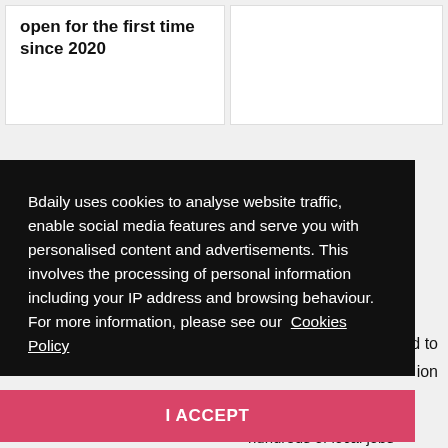open for the first time since 2020
Bdaily uses cookies to analyse website traffic, enable social media features and serve you with personalised content and advertisements. This involves the processing of personal information including your IP address and browsing behaviour. For more information, please see our Cookies Policy
I ACCEPT
rd to
ion
Quayside
hundreds of local jobs"